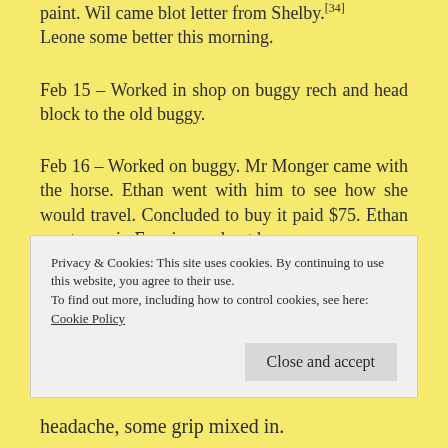paint. Wil came blot letter from Shelby.[34] Leone some better this morning.
Feb 15 – Worked in shop on buggy rech and head block to the old buggy.
Feb 16 – Worked on buggy. Mr Monger came with the horse. Ethan went with him to see how she would travel. Concluded to buy it paid $75. Ethan went over in Evening and got her.
Privacy & Cookies: This site uses cookies. By continuing to use this website, you agree to their use.
To find out more, including how to control cookies, see here:
Cookie Policy
Close and accept
headache, some grip mixed in.